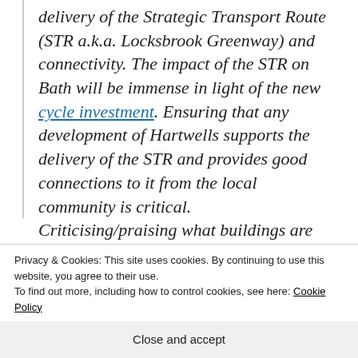delivery of the Strategic Transport Route (STR a.k.a. Locksbrook Greenway) and connectivity. The impact of the STR on Bath will be immense in light of the new cycle investment. Ensuring that any development of Hartwells supports the delivery of the STR and provides good connections to it from the local community is critical. Criticising/praising what buildings are built on the site is something Cycle Bath will not
Privacy & Cookies: This site uses cookies. By continuing to use this website, you agree to their use.
To find out more, including how to control cookies, see here: Cookie Policy
Close and accept